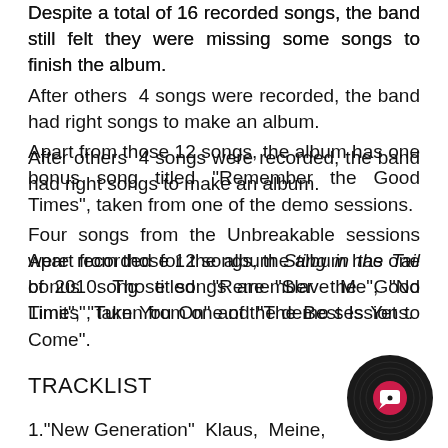Despite a total of 16 recorded songs, the band still felt they were missing some songs to finish the album.
After others 4 songs were recorded, the band had right songs to make an album.
Apart from those 12 songs, the album has one bonus song titled "Remember the Good Times", taken from one of the demo sessions.
Four songs from the Unbreakable sessions were recorded for the album Sting in the Tail of 2010. Those songs are "Slave Me", "No Limit", "Turn You On" and "The Best Is Yet to Come".
TRACKLIST
1."New Generation" Klaus, Meine,